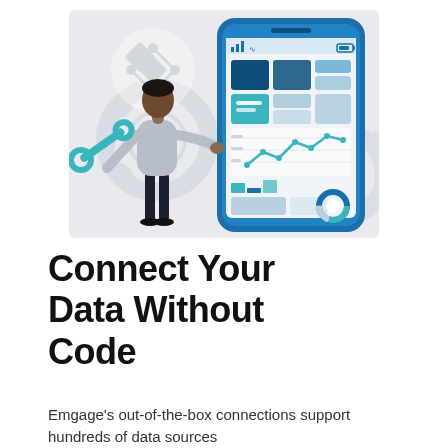[Figure (illustration): Illustration of a person holding a wrench standing next to a large smartphone displaying a mobile dashboard with charts, tiles, and a donut chart. Background shows light gray gear shapes and a diamond/connector icon.]
Connect Your Data Without Code
Emgage's out-of-the-box connections support hundreds of data sources